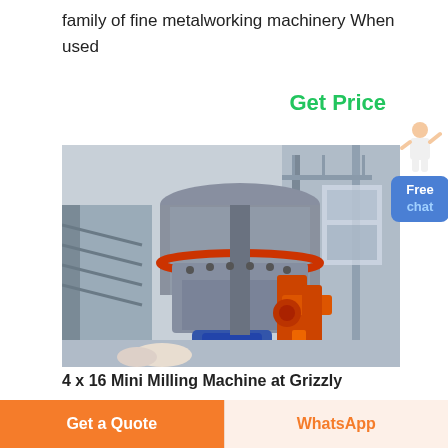family of fine metalworking machinery When used
Get Price
[Figure (photo): Large industrial vertical milling/grinding machine with grey cylindrical body and orange mechanical arm/actuator components, installed in an industrial facility with metal framework and walkways.]
4 x 16 Mini Milling Machine at Grizzly
[Figure (illustration): Small icon of a woman in white outfit with hand raised, next to a blue Free chat button]
Get a Quote
WhatsApp